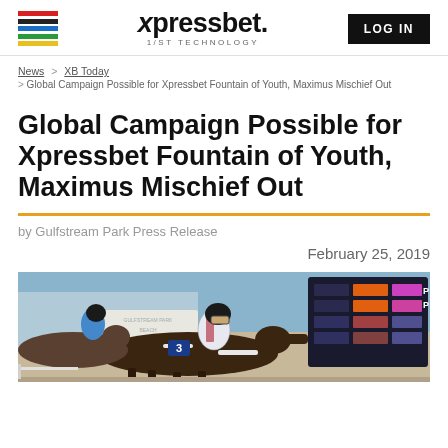xpressbet. 1/ST TECHNOLOGY | LOG IN
News > XB Today > Global Campaign Possible for Xpressbet Fountain of Youth, Maximus Mischief Out
Global Campaign Possible for Xpressbet Fountain of Youth, Maximus Mischief Out
by Gulfstream Park Press Release
February 25, 2019
[Figure (photo): Horse racing photo showing jockey on horse numbered 3 crossing the finish line at a racetrack, with a colorful scoreboard in the background.]